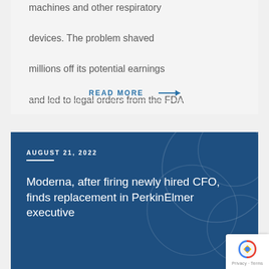machines and other respiratory devices. The problem shaved millions off its potential earnings and led to legal orders from the FDA
READ MORE →
AUGUST 21, 2022
Moderna, after firing newly hired CFO, finds replacement in PerkinElmer executive